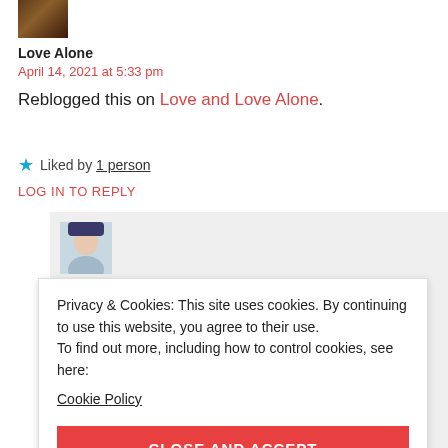[Figure (photo): Small avatar thumbnail, brown/dark tones]
Love Alone
April 14, 2021 at 5:33 pm
Reblogged this on Love and Love Alone.
★ Liked by 1 person
LOG IN TO REPLY
[Figure (photo): Nested comment avatar, woman photo]
Privacy & Cookies: This site uses cookies. By continuing to use this website, you agree to their use. To find out more, including how to control cookies, see here: Cookie Policy
CLOSE AND ACCEPT
LOG IN TO REPLY